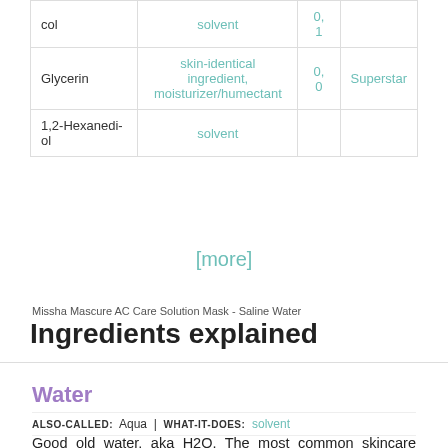|  |  |  |  |
| --- | --- | --- | --- |
| col | solvent | 0, 1 |  |
| Glycerin | skin-identical ingredient, moisturizer/humectant | 0, 0 | Superstar |
| 1,2-Hexanediol | solvent |  |  |
[more]
Missha Mascure AC Care Solution Mask - Saline Water
Ingredients explained
Water
ALSO-CALLED: Aqua | WHAT-IT-DOES: solvent
Good old water, aka H2O. The most common skincare ingredient of all. You can usually find it right in the very first spot of the ingredient list, meaning it's the biggest thing out of all the stuff that makes up the product.